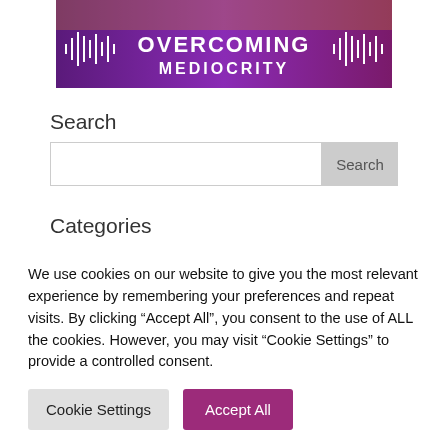[Figure (other): Overcoming Mediocrity podcast banner with purple background, sound wave graphics, and the text OVERCOMING MEDIOCRITY]
Search
Search input box with Search button
Categories
Select Category dropdown
We use cookies on our website to give you the most relevant experience by remembering your preferences and repeat visits. By clicking “Accept All”, you consent to the use of ALL the cookies. However, you may visit "Cookie Settings" to provide a controlled consent.
Cookie Settings | Accept All